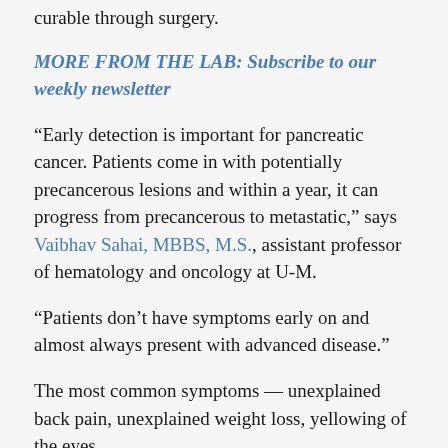curable through surgery.
MORE FROM THE LAB: Subscribe to our weekly newsletter
“Early detection is important for pancreatic cancer. Patients come in with potentially precancerous lesions and within a year, it can progress from precancerous to metastatic,” says Vaibhav Sahai, MBBS, M.S., assistant professor of hematology and oncology at U-M.
“Patients don’t have symptoms early on and almost always present with advanced disease.”
The most common symptoms — unexplained back pain, unexplained weight loss, yellowing of the eyes